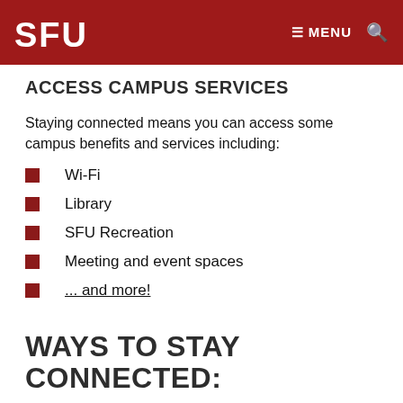SFU | MENU 🔍
ACCESS CAMPUS SERVICES
Staying connected means you can access some campus benefits and services including:
Wi-Fi
Library
SFU Recreation
Meeting and event spaces
... and more!
WAYS TO STAY CONNECTED: